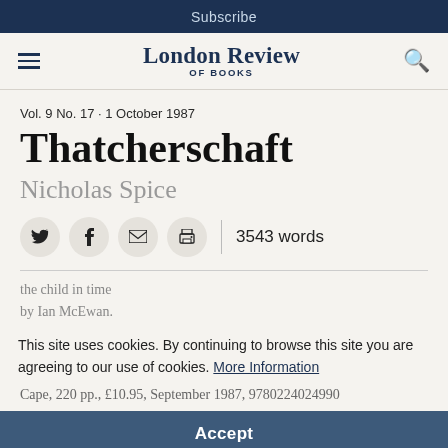Subscribe
London Review OF BOOKS
Vol. 9 No. 17 · 1 October 1987
Thatcherschaft
Nicholas Spice
3543 words
This site uses cookies. By continuing to browse this site you are agreeing to our use of cookies. More Information
the child in time by Ian McEwan.
Cape, 220 pp., £10.95, September 1987, 9780224024990
Accept
The Book and the Brotherhood